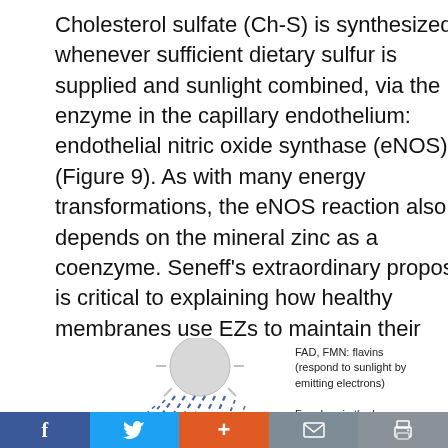Cholesterol sulfate (Ch-S) is synthesized whenever sufficient dietary sulfur is supplied and sunlight combined, via the enzyme in the capillary endothelium: endothelial nitric oxide synthase (eNOS) (Figure 9). As with many energy transformations, the eNOS reaction also depends on the mineral zinc as a coenzyme. Seneff's extraordinary proposal is critical to explaining how healthy membranes use EZs to maintain their integrity.
[Figure (illustration): A sun illustration with dashed lines (rays) projecting downward-left, representing sunlight/energy. Part of a scientific diagram about eNOS and cholesterol sulfate synthesis. Figure 9 referenced in the text above.]
FAD, FMN: flavins (respond to sunlight by emitting electrons)

Fe = Iron in the heme group
f  [Twitter bird]  +  [mail]  [print]